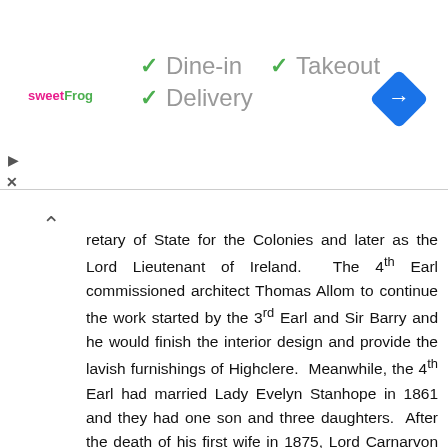[Figure (screenshot): Ad banner for sweetFrog with check marks for Dine-in, Takeout, Delivery, and a navigation arrow icon]
retary of State for the Colonies and later as the Lord Lieutenant of Ireland. The 4th Earl commissioned architect Thomas Allom to continue the work started by the 3rd Earl and Sir Barry and he would finish the interior design and provide the lavish furnishings of Highclere. Meanwhile, the 4th Earl had married Lady Evelyn Stanhope in 1861 and they had one son and three daughters. After the death of his first wife in 1875, Lord Carnarvon married his first cousin, Elizabeth, in 1878 and had two more sons. It was during this time that the lavish interior decorations and furnishings of Highclere were completed.
After Henry died in 1890, his eldest son George Edward Herbert (1866-1923) inherited the titles and the property. The 5th Earl of Carnarvon married his first wife, Almina Wombwell, she was the illegitimate daughter of the millionaire banker Alfred de Rothschild in June 1895 and her money helped to fund improvements to Highclere. The couple had two children, a son named Henry and